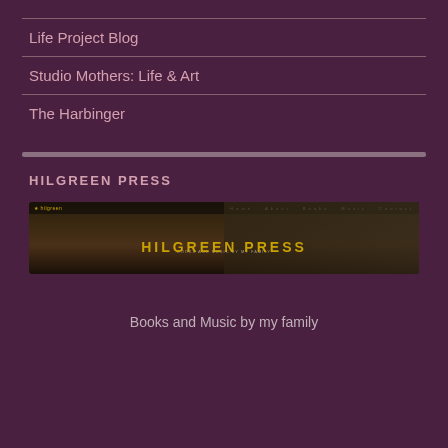Life Project Blog
Studio Mothers: Life & Art
The Harbinger
HILGREEN PRESS
[Figure (screenshot): Screenshot of Hilgreen Press website showing a castle banner image with golden text 'HILGREEN PRESS' and a navigation bar at the top]
Books and Music by my family